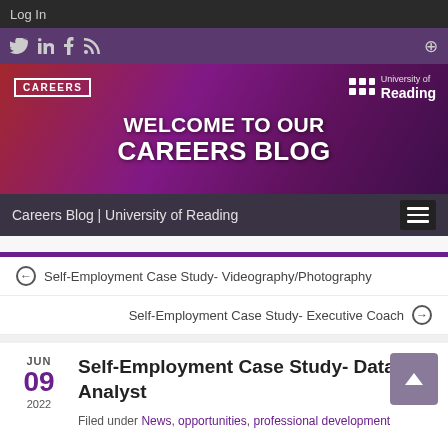Log In
[Figure (screenshot): Social media icons: Twitter, LinkedIn, Facebook, RSS feed, and a search icon on a purple background]
[Figure (photo): University of Reading Careers Blog banner with red/purple gradient background and city lights. Text: CAREERS | WELCOME TO OUR CAREERS BLOG | University of Reading logo]
Careers Blog | University of Reading
Self-Employment Case Study- Videography/Photography
Self-Employment Case Study- Executive Coach
Self-Employment Case Study- Data Analyst
Filed under News, opportunities, professional development